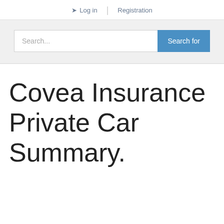Log in | Registration
[Figure (screenshot): Search bar with text input placeholder 'Search...' and a blue 'Search for' button]
Covea Insurance Private Car Summary.